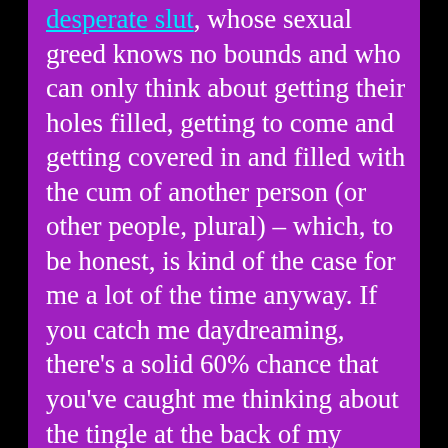desperate slut, whose sexual greed knows no bounds and who can only think about getting their holes filled, getting to come and getting covered in and filled with the cum of another person (or other people, plural) – which, to be honest, is kind of the case for me a lot of the time anyway. If you catch me daydreaming, there's a solid 60% chance that you've caught me thinking about the tingle at the back of my tongue that cum can sometimes give me, or the way a dick looks when it's twitching and spraying cum everywhere, or any other thing related to cum and how much I love it.